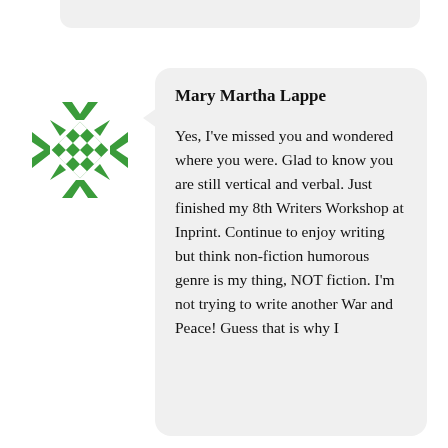[Figure (logo): Green quilt-pattern circular logo/avatar for Mary Martha Lappe]
Mary Martha Lappe
Yes, I've missed you and wondered where you were. Glad to know you are still vertical and verbal. Just finished my 8th Writers Workshop at Inprint. Continue to enjoy writing but think non-fiction humorous genre is my thing, NOT fiction. I'm not trying to write another War and Peace! Guess that is why I